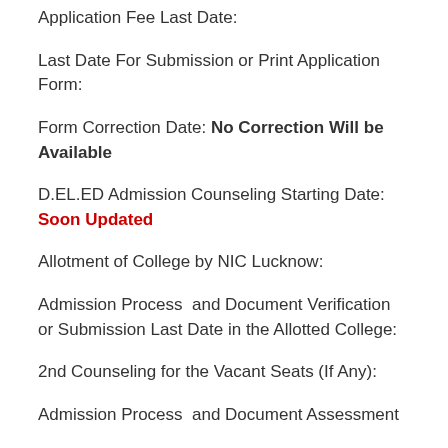Application Fee Last Date:
Last Date For Submission or Print Application Form:
Form Correction Date: No Correction Will be Available
D.EL.ED Admission Counseling Starting Date: Soon Updated
Allotment of College by NIC Lucknow:
Admission Process  and Document Verification or Submission Last Date in the Allotted College:
2nd Counseling for the Vacant Seats (If Any):
Admission Process  and Document Assessment